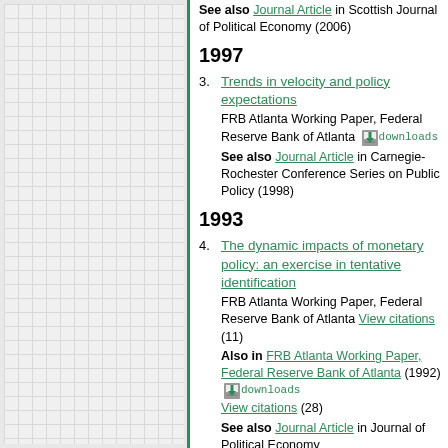See also Journal Article in Scottish Journal of Political Economy (2006)
1997
3. Trends in velocity and policy expectations — FRB Atlanta Working Paper, Federal Reserve Bank of Atlanta [downloads] See also Journal Article in Carnegie-Rochester Conference Series on Public Policy (1998)
1993
4. The dynamic impacts of monetary policy: an exercise in tentative identification — FRB Atlanta Working Paper, Federal Reserve Bank of Atlanta View citations (11) Also in FRB Atlanta Working Paper, Federal Reserve Bank of Atlanta (1992) [downloads] View citations (28) See also Journal Article in Journal of Political Economy (1994)